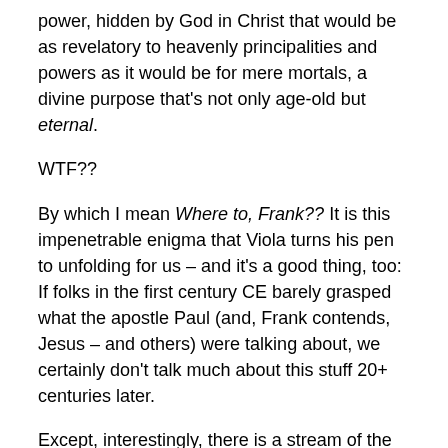power, hidden by God in Christ that would be as revelatory to heavenly principalities and powers as it would be for mere mortals, a divine purpose that's not only age-old but eternal.
WTF??
By which I mean Where to, Frank?? It is this impenetrable enigma that Viola turns his pen to unfolding for us – and it's a good thing, too: If folks in the first century CE barely grasped what the apostle Paul (and, Frank contends, Jesus – and others) were talking about, we certainly don't talk much about this stuff 20+ centuries later.
Except, interestingly, there is a stream of the Christian family who has dared speak about such things: Plymouth Brethren, Christian Missionary Alliance, Keswick Higher Life movement folks, and their descendents. I can't do